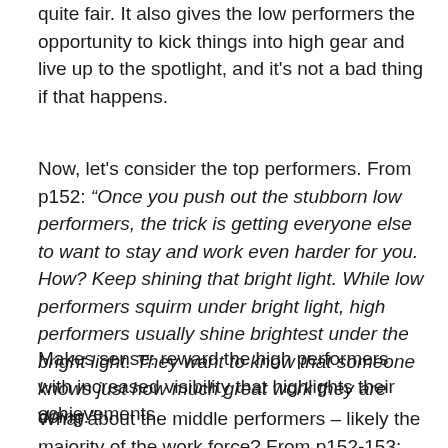quite fair. It also gives the low performers the opportunity to kick things into high gear and live up to the spotlight, and it's not a bad thing if that happens.
Now, let's consider the top performers. From p152: “Once you push out the stubborn low performers, the trick is getting everyone else to want to stay and work even harder for you. How? Keep shining that bright light. While low performers squirm under bright light, high performers usually shine brightest under the bright light. They want to know that someone knows just how much great work they are doing.”
Makes sense: reward the high performers with increased visibility that highlights their achievements.
What about the middle performers – likely the majority of the work force? From p152-153: “What about that vast